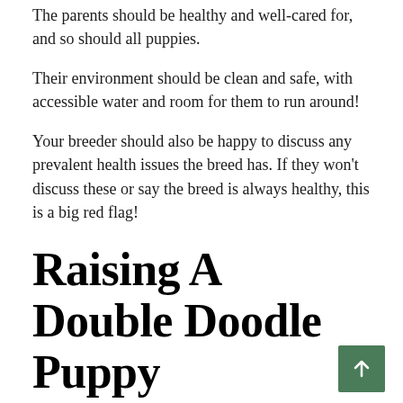The parents should be healthy and well-cared for, and so should all puppies.
Their environment should be clean and safe, with accessible water and room for them to run around!
Your breeder should also be happy to discuss any prevalent health issues the breed has. If they won't discuss these or say the breed is always healthy, this is a big red flag!
Raising A Double Doodle Puppy
As big, energetic dogs, Double Doodles can be rambunctious! You want to raise them right.